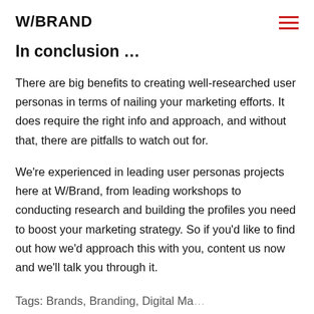W/BRAND
In conclusion …
There are big benefits to creating well-researched user personas in terms of nailing your marketing efforts. It does require the right info and approach, and without that, there are pitfalls to watch out for.
We're experienced in leading user personas projects here at W/Brand, from leading workshops to conducting research and building the profiles you need to boost your marketing strategy. So if you'd like to find out how we'd approach this with you, content us now and we'll talk you through it.
Tags: Brands, Branding, Digital Marketing